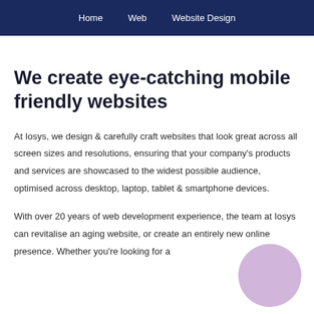Home  Web  Website Design
We create eye-catching mobile friendly websites
At Iosys, we design & carefully craft websites that look great across all screen sizes and resolutions, ensuring that your company's products and services are showcased to the widest possible audience, optimised across desktop, laptop, tablet & smartphone devices.
With over 20 years of web development experience, the team at Iosys can revitalise an aging website, or create an entirely new online presence. Whether you're looking for a